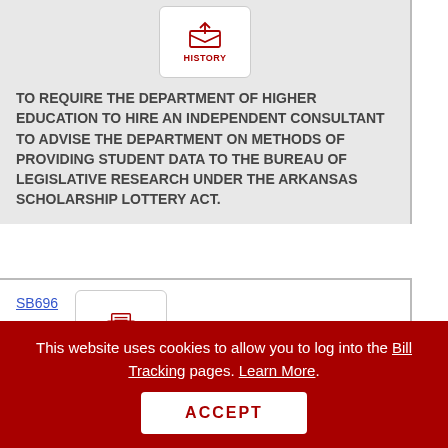[Figure (other): History button icon (inbox tray with arrow) at top of page]
TO REQUIRE THE DEPARTMENT OF HIGHER EDUCATION TO HIRE AN INDEPENDENT CONSULTANT TO ADVISE THE DEPARTMENT ON METHODS OF PROVIDING STUDENT DATA TO THE BUREAU OF LEGISLATIVE RESEARCH UNDER THE ARKANSAS SCHOLARSHIP LOTTERY ACT.
SB696
Act 715
[Figure (other): History button icon (inbox tray) for SB696 / Act 715]
AN ACT FOR THE DEPARTMENT OF RURAL SERVICES GENERAL IMPROVEMENT
This website uses cookies to allow you to log into the Bill Tracking pages. Learn More. ACCEPT